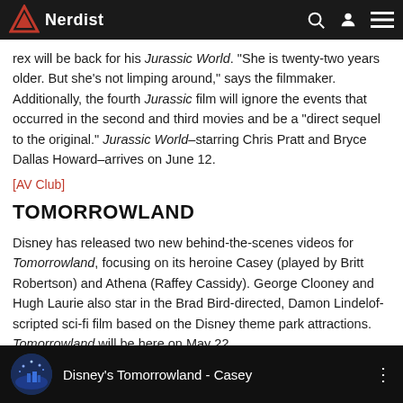Nerdist
rex will be back for his Jurassic World. “She is twenty-two years older. But she’s not limping around,” says the filmmaker. Additionally, the fourth Jurassic film will ignore the events that occurred in the second and third movies and be a “direct sequel to the original.” Jurassic World–starring Chris Pratt and Bryce Dallas Howard–arrives on June 12.
[AV Club]
TOMORROWLAND
Disney has released two new behind-the-scenes videos for Tomorrowland, focusing on its heroine Casey (played by Britt Robertson) and Athena (Raffey Cassidy). George Clooney and Hugh Laurie also star in the Brad Bird-directed, Damon Lindelof-scripted sci-fi film based on the Disney theme park attractions. Tomorrowland will be here on May 22.
[Figure (screenshot): Video thumbnail bar showing Disney's Tomorrowland - Casey with circular thumbnail image on black background]